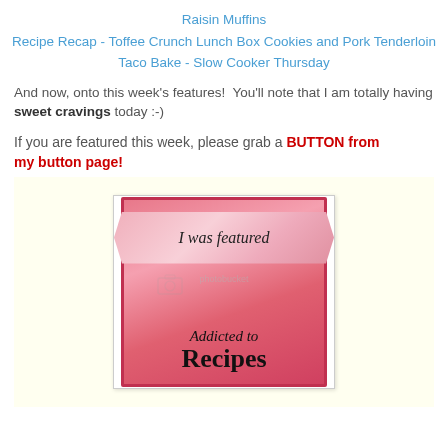Raisin Muffins
Recipe Recap - Toffee Crunch Lunch Box Cookies and Pork Tenderloin
Taco Bake - Slow Cooker Thursday
And now, onto this week's features!  You'll note that I am totally having sweet cravings today :-)
If you are featured this week, please grab a BUTTON from my button page!
[Figure (illustration): A pink square badge with a ribbon across it reading 'I was featured' in italic script, and below 'Addicted to Recipes' in serif/script text. Pink gradient background with dark pink border.]